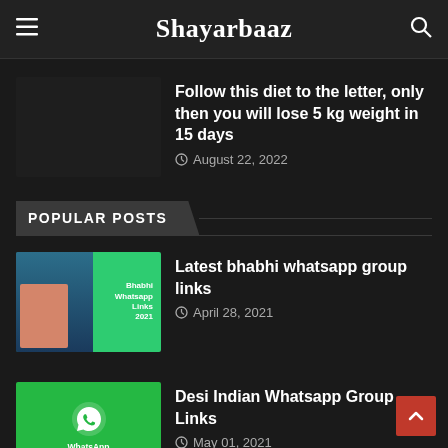Shayarbaaz
Follow this diet to the letter, only then you will lose 5 kg weight in 15 days
August 22, 2022
POPULAR POSTS
Latest bhabhi whatsapp group links
April 28, 2021
Desi Indian Whatsapp Group Links
May 01, 2021
Pakistani desi bhabhi whatapp group link
April 28, 2021